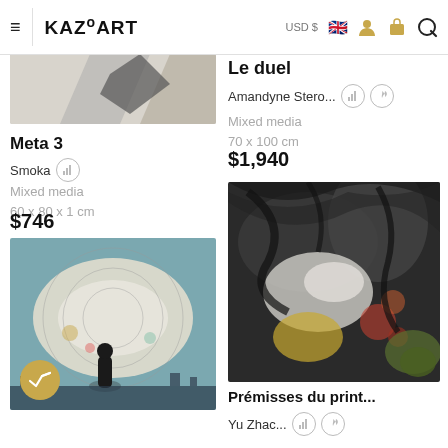KAZoART  USD $  [flag icon]  [user icon]  [cart icon]  [search icon]
[Figure (photo): Partial view of artwork top-left, cropped]
Meta 3
Smoka [stats icon]
Mixed media
60 x 80 x 1 cm
$746
[Figure (photo): Abstract painting with circular motif and figure standing in front, blue-grey-yellow tones, with gold verified badge]
Le duel
Amandyne Stero... [stats icon] [fire icon]
Mixed media
70 x 100 cm
$1,940
[Figure (photo): Abstract dark painting with swirling black, white, yellow and orange tones]
Prémisses du print...
Yu Zhac... [stats icon] [fire icon]